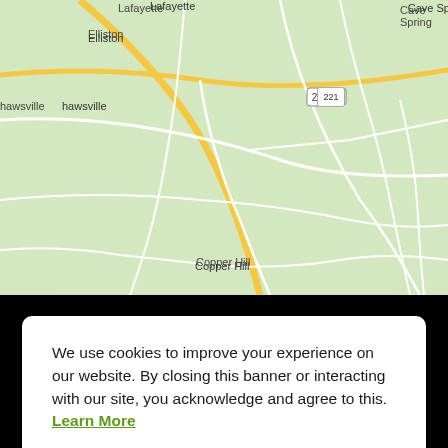[Figure (map): Road map showing area of Virginia including Cave Spring, Narrows, Hardy, Elliston, Boones Mill, Copper Hill, Wirtz, and route numbers 221, 220, 634, 636, 122, 670]
We use cookies to improve your experience on our website. By closing this banner or interacting with our site, you acknowledge and agree to this. Learn More
[Figure (screenshot): Accept button (green) for cookie consent banner]
[Figure (screenshot): Facebook Like Page and Send Message widget bar with Virginia Cooperative Extension logo]
[Figure (logo): Virginia Cooperative Extension logo - Virginia Tech + Virginia State University]